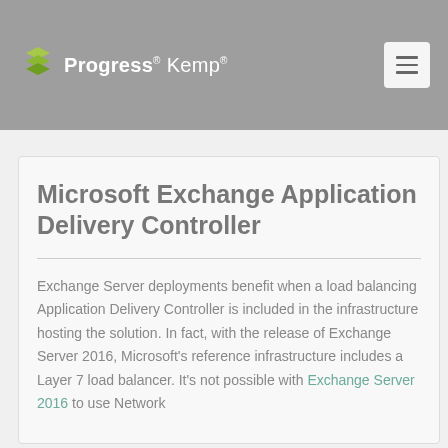Progress Kemp
Microsoft Exchange Application Delivery Controller
Exchange Server deployments benefit when a load balancing Application Delivery Controller is included in the infrastructure hosting the solution. In fact, with the release of Exchange Server 2016, Microsoft's reference infrastructure includes a Layer 7 load balancer. It's not possible with Exchange Server 2016 to use Network